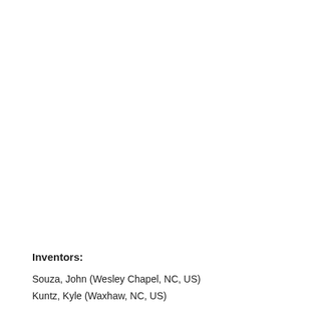Inventors:
Souza, John (Wesley Chapel, NC, US)
Kuntz, Kyle (Waxhaw, NC, US)